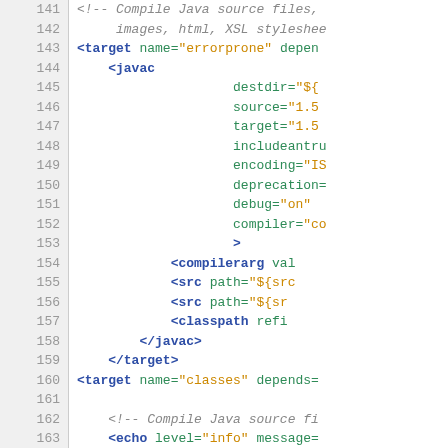XML/Ant build file code snippet, lines 141-170, showing Java compilation targets with javac tasks